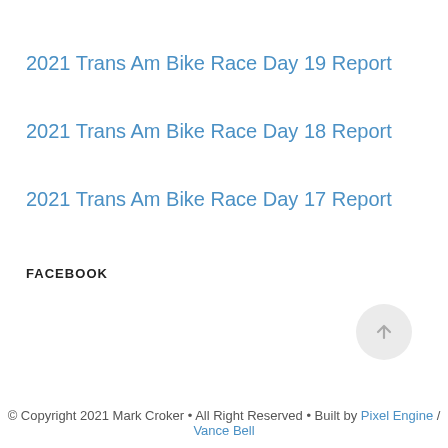2021 Trans Am Bike Race Day 19 Report
2021 Trans Am Bike Race Day 18 Report
2021 Trans Am Bike Race Day 17 Report
FACEBOOK
© Copyright 2021 Mark Croker • All Right Reserved • Built by Pixel Engine / Vance Bell